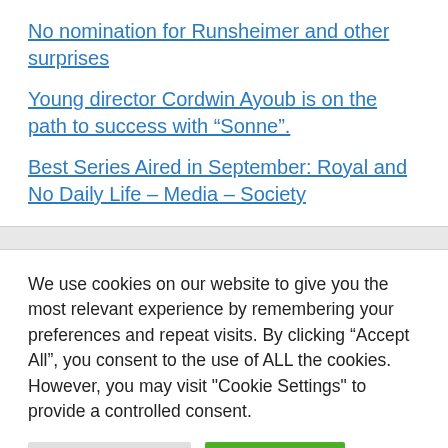No nomination for Runsheimer and other surprises
Young director Cordwin Ayoub is on the path to success with “Sonne”.
Best Series Aired in September: Royal and No Daily Life – Media – Society
We use cookies on our website to give you the most relevant experience by remembering your preferences and repeat visits. By clicking “Accept All”, you consent to the use of ALL the cookies. However, you may visit "Cookie Settings" to provide a controlled consent.